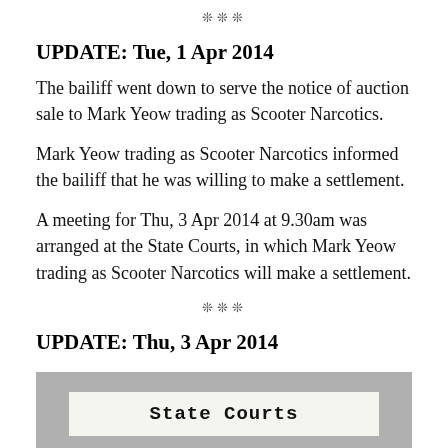***
UPDATE: Tue, 1 Apr 2014
The bailiff went down to serve the notice of auction sale to Mark Yeow trading as Scooter Narcotics.
Mark Yeow trading as Scooter Narcotics informed the bailiff that he was willing to make a settlement.
A meeting for Thu, 3 Apr 2014 at 9.30am was arranged at the State Courts, in which Mark Yeow trading as Scooter Narcotics will make a settlement.
***
UPDATE: Thu, 3 Apr 2014
[Figure (photo): Photo of a State Courts document/sign showing the text 'State Courts' in bold monospace font on a light background, set against a grey textured surface.]